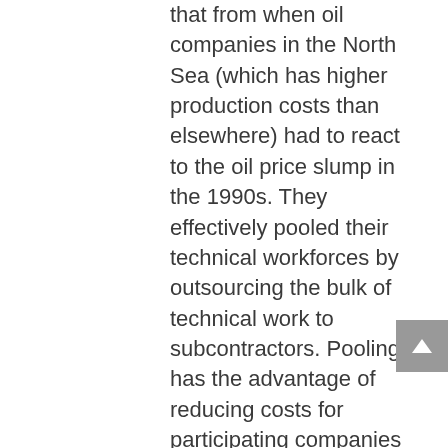that from when oil companies in the North Sea (which has higher production costs than elsewhere) had to react to the oil price slump in the 1990s. They effectively pooled their technical workforces by outsourcing the bulk of technical work to subcontractors. Pooling has the advantage of reducing costs for participating companies by increasing the total utilization rate of the pool. This is important because large scale technology adoption and deployment require major upfront investment and create a fixed cost base (though cloud offerings based on usage ameliorate that). But the marginal (variable) cost of adding and supporting additional customers is very low. If companies